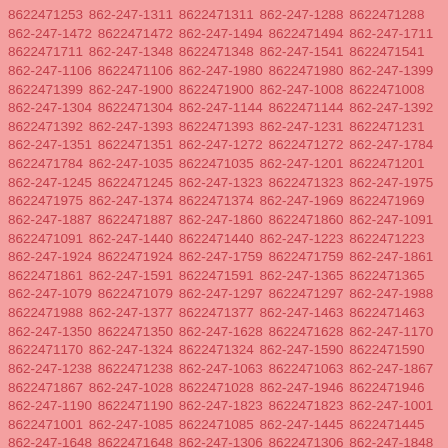8622471253 862-247-1311 8622471311 862-247-1288 8622471288 862-247-1472 8622471472 862-247-1494 8622471494 862-247-1711 8622471711 862-247-1348 8622471348 862-247-1541 8622471541 862-247-1106 8622471106 862-247-1980 8622471980 862-247-1399 8622471399 862-247-1900 8622471900 862-247-1008 8622471008 862-247-1304 8622471304 862-247-1144 8622471144 862-247-1392 8622471392 862-247-1393 8622471393 862-247-1231 8622471231 862-247-1351 8622471351 862-247-1272 8622471272 862-247-1784 8622471784 862-247-1035 8622471035 862-247-1201 8622471201 862-247-1245 8622471245 862-247-1323 8622471323 862-247-1975 8622471975 862-247-1374 8622471374 862-247-1969 8622471969 862-247-1887 8622471887 862-247-1860 8622471860 862-247-1091 8622471091 862-247-1440 8622471440 862-247-1223 8622471223 862-247-1924 8622471924 862-247-1759 8622471759 862-247-1861 8622471861 862-247-1591 8622471591 862-247-1365 8622471365 862-247-1079 8622471079 862-247-1297 8622471297 862-247-1988 8622471988 862-247-1377 8622471377 862-247-1463 8622471463 862-247-1350 8622471350 862-247-1628 8622471628 862-247-1170 8622471170 862-247-1324 8622471324 862-247-1590 8622471590 862-247-1238 8622471238 862-247-1063 8622471063 862-247-1867 8622471867 862-247-1028 8622471028 862-247-1946 8622471946 862-247-1190 8622471190 862-247-1823 8622471823 862-247-1001 8622471001 862-247-1085 8622471085 862-247-1445 8622471445 862-247-1648 8622471648 862-247-1306 8622471306 862-247-1848 8622471848 862-247-